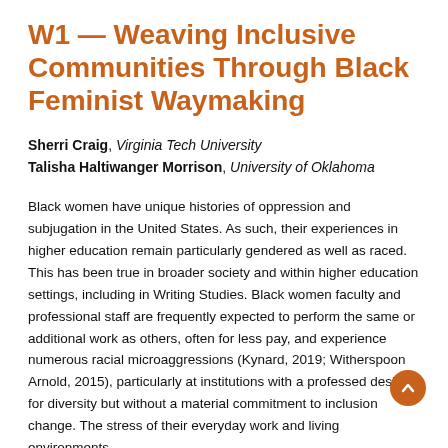W1 — Weaving Inclusive Communities Through Black Feminist Waymaking
Sherri Craig, Virginia Tech University
Talisha Haltiwanger Morrison, University of Oklahoma
Black women have unique histories of oppression and subjugation in the United States. As such, their experiences in higher education remain particularly gendered as well as raced. This has been true in broader society and within higher education settings, including in Writing Studies. Black women faculty and professional staff are frequently expected to perform the same or additional work as others, often for less pay, and experience numerous racial microaggressions (Kynard, 2019; Witherspoon Arnold, 2015), particularly at institutions with a professed desire for diversity but without a material commitment to inclusion and change. The stress of their everyday work and living environments constitutes Black women's racial microaggressions and strained relationships